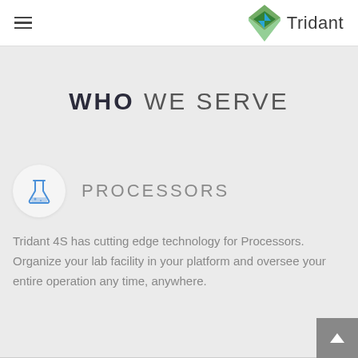Tridant
WHO WE SERVE
[Figure (logo): Blue flask/beaker icon in a white circle]
PROCESSORS
Tridant 4S has cutting edge technology for Processors. Organize your lab facility in your platform and oversee your entire operation any time, anywhere.